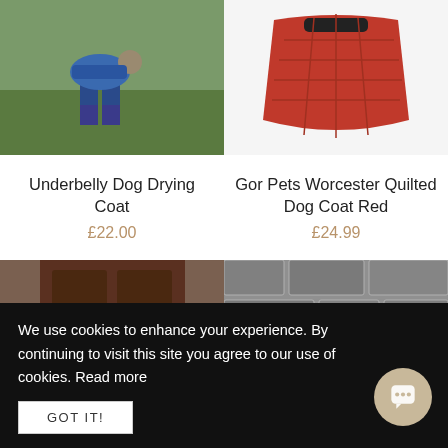[Figure (photo): Dog wearing a blue drying coat, walking through grass with person in wellies]
[Figure (photo): Red quilted dog coat shown on white background]
Underbelly Dog Drying Coat
£22.00
Gor Pets Worcester Quilted Dog Coat Red
£24.99
[Figure (photo): Golden dachshund/spaniel wearing a pink/magenta dog coat, standing in front of a brown wooden door]
[Figure (photo): Springer spaniel wearing a red dog coat, sitting against a stone wall]
We use cookies to enhance your experience. By continuing to visit this site you agree to our use of cookies. Read more
GOT IT!